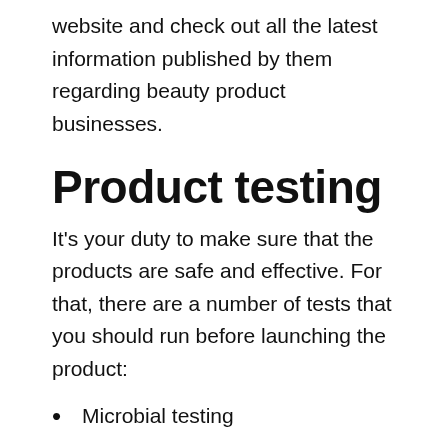website and check out all the latest information published by them regarding beauty product businesses.
Product testing
It's your duty to make sure that the products are safe and effective. For that, there are a number of tests that you should run before launching the product:
Microbial testing
Stability testing
Safety testing
S...